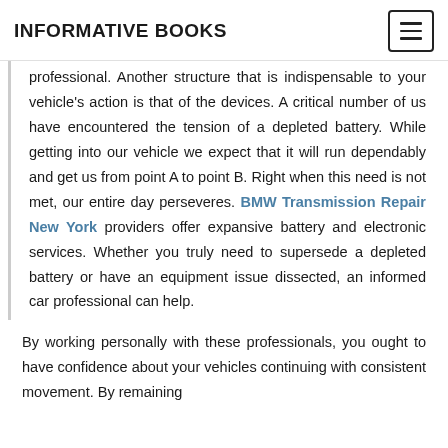INFORMATIVE BOOKS
professional. Another structure that is indispensable to your vehicle's action is that of the devices. A critical number of us have encountered the tension of a depleted battery. While getting into our vehicle we expect that it will run dependably and get us from point A to point B. Right when this need is not met, our entire day perseveres. BMW Transmission Repair New York providers offer expansive battery and electronic services. Whether you truly need to supersede a depleted battery or have an equipment issue dissected, an informed car professional can help.
By working personally with these professionals, you ought to have confidence about your vehicles continuing with consistent movement. By remaining